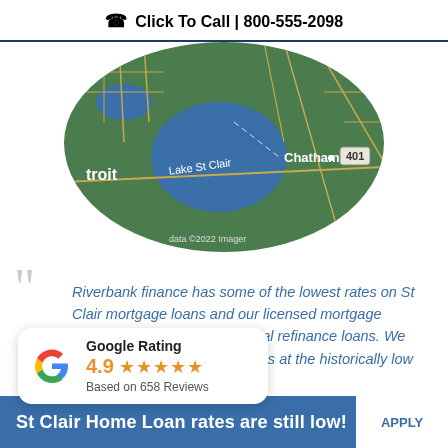☎ Click To Call | 800-555-2098
[Figure (map): Aerial satellite map showing Lake St Clair area between Detroit and Chatham, with Highway 401 visible. Map data ©2022 Imagery.]
Riverbank finance has some of the lowest rates on St Clair mortgage loans and our licensed mortgage brokers specialize in residential refinance loans. We offer a wide selection of options at the historically low rates.
[Figure (other): Google Rating badge showing 4.9 stars based on 658 Reviews]
St Clair Home Loan rates are still low!
APPLY